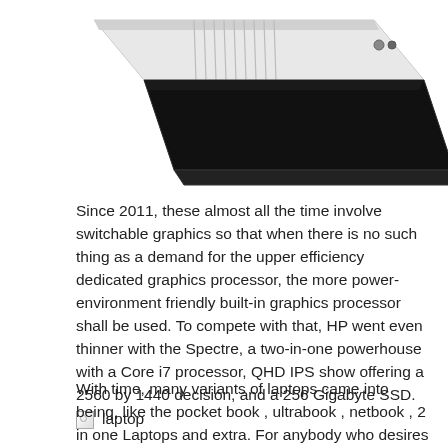[Figure (photo): Laptop computer viewed from above at an angle, showing the back and side of the device. The laptop appears to be open with a dark screen visible. Silver/white body with ventilation grilles on the back edge.]
Since 2011, these almost all the time involve switchable graphics so that when there is no such thing as a demand for the upper efficiency dedicated graphics processor, the more power-environment friendly built-in graphics processor shall be used. To compete with that, HP went even thinner with the Spectre, a two-in-one powerhouse with a Core i7 processor, QHD IPS show offering a 2560 by 1440 decision, and a 256 Gigabyte SSD.
[Figure (photo): Broken image placeholder with alt text 'laptop']
With time, many variants of laptops came into being, like the pocket book , ultrabook , netbook , 2 in one Laptops and extra. For anybody who desires ...